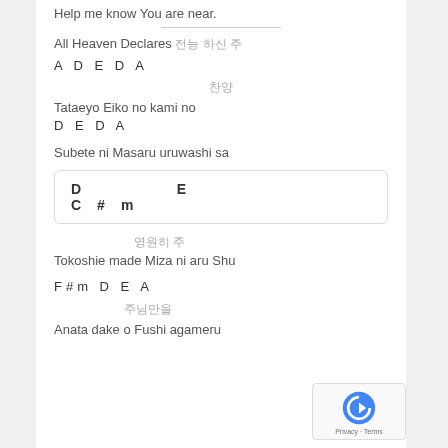Help me know You are near.
All Heaven Declares 전능 하신 주
A D E D A
찬양
Tataeyo Eiko no kami no
D E D A
Subete ni Masaru uruwashi sa
D   E   C#m
영원히 주
Tokoshie made Miza ni aru Shu
F#m D E A
주님만을
Anata dake o Fushi agameru